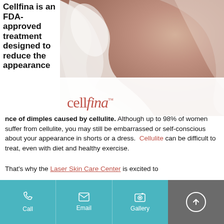Cellfina is an FDA-approved treatment designed to reduce the appearance of dimples caused by cellulite. Although up to 98% of women suffer from cellulite, you may still be embarrassed or self-conscious about your appearance in shorts or a dress. Cellulite can be difficult to treat, even with diet and healthy exercise.
[Figure (photo): Woman wrapped in white fabric/cloth, with Cellfina brand logo below in coral/red script text on white background]
That's why the Laser Skin Care Center is excited to
Call | Email | Gallery | Directions